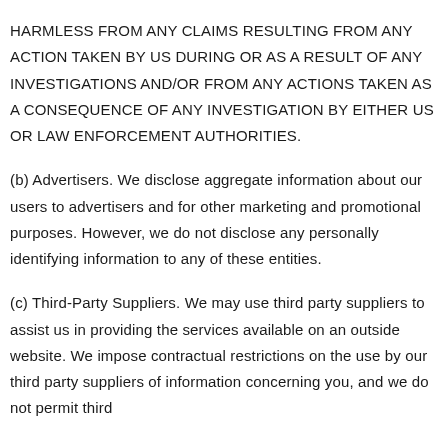HARMLESS FROM ANY CLAIMS RESULTING FROM ANY ACTION TAKEN BY US DURING OR AS A RESULT OF ANY INVESTIGATIONS AND/OR FROM ANY ACTIONS TAKEN AS A CONSEQUENCE OF ANY INVESTIGATION BY EITHER US OR LAW ENFORCEMENT AUTHORITIES.
(b) Advertisers. We disclose aggregate information about our users to advertisers and for other marketing and promotional purposes. However, we do not disclose any personally identifying information to any of these entities.
(c) Third-Party Suppliers. We may use third party suppliers to assist us in providing the services available on an outside website. We impose contractual restrictions on the use by our third party suppliers of information concerning you, and we do not permit third